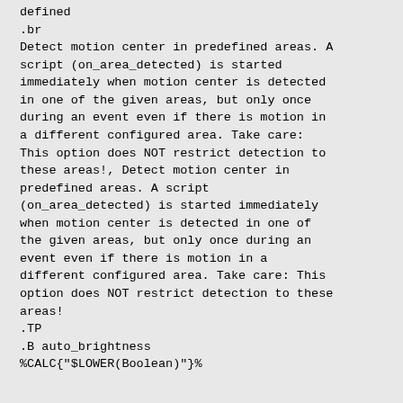defined
.br
Detect motion center in predefined areas. A script (on_area_detected) is started immediately when motion center is detected in one of the given areas, but only once during an event even if there is motion in a different configured area. Take care: This option does NOT restrict detection to these areas!, Detect motion center in predefined areas. A script (on_area_detected) is started immediately when motion center is detected in one of the given areas, but only once during an event even if there is motion in a different configured area. Take care: This option does NOT restrict detection to these areas!
.TP
.B auto_brightness
%CALC{"$LOWER(Boolean)"}%